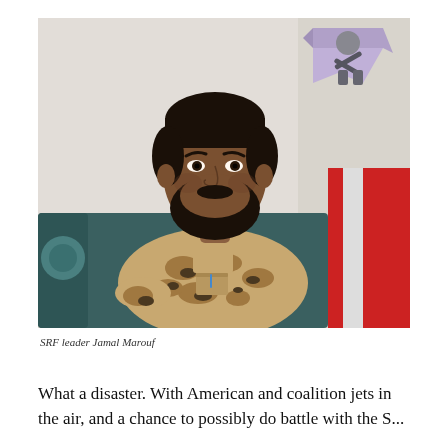[Figure (photo): A man with a dark beard wearing a desert camouflage military uniform sits on a dark couch. Behind him on the wall is a military insignia/emblem in purple and black. To his right is a partially visible person wearing a red and white garment.]
SRF leader Jamal Marouf
What a disaster. With American and coalition jets in the air, and a chance to possibly do battle with the S...